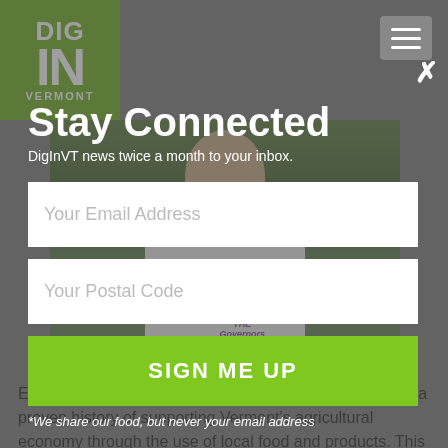[Figure (screenshot): Dig In Vermont website screenshot showing a newsletter signup modal overlay on top of a chef photo. Top-left has the Dig In Vermont green logo. Top-right has a hamburger menu icon and X close button. Modal contains Stay Connected headline, subtitle, email and postal code input fields, and a green SIGN ME UP button.]
Stay Connected
DigInVT news twice a month to your inbox.
Your Email Address
Your Postal Code
SIGN ME UP
*We share our food, but never your email address
Each year the Vermont Chamber recognizes a chef with a proven history of supporting Vermont's agricultural economy through the use of local food and products. This award has been bestowed